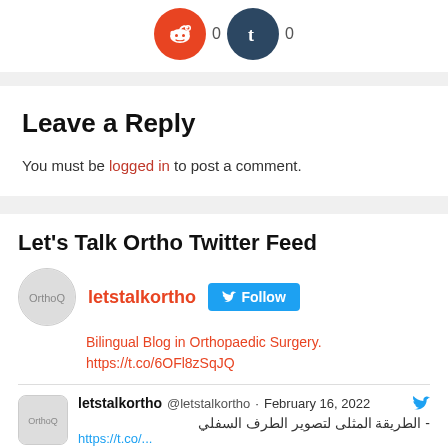[Figure (logo): Reddit and Tumblr social share buttons with 0 counts each]
Leave a Reply
You must be logged in to post a comment.
Let's Talk Ortho Twitter Feed
[Figure (infographic): letstalkortho Twitter profile with Follow button and bio: Bilingual Blog in Orthopaedic Surgery. https://t.co/6OFl8zSqJQ]
[Figure (screenshot): Tweet by letstalkortho @letstalkortho · February 16, 2022 with Arabic text: - الطريقة المثلى لتصوير الطرف السفلي]
letstalkortho @letstalkortho · February 16, 2022
- الطريقة المثلى لتصوير الطرف السفلي